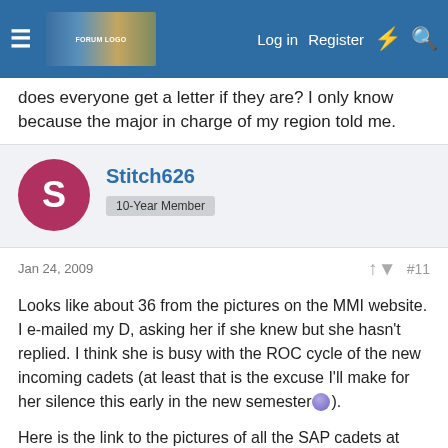Navigation bar with menu, logo, Log in, Register, and search icons
does everyone get a letter if they are? I only know because the major in charge of my region told me.
Stitch626 | 10-Year Member
Jan 24, 2009 #11
Looks like about 36 from the pictures on the MMI website. I e-mailed my D, asking her if she knew but she hasn't replied. I think she is busy with the ROC cycle of the new incoming cadets (at least that is the excuse I'll make for her silence this early in the new semester😕).
Here is the link to the pictures of all the SAP cadets at MMI this year:
http://marionmilitary.edu/programs/sapgallery0809.da